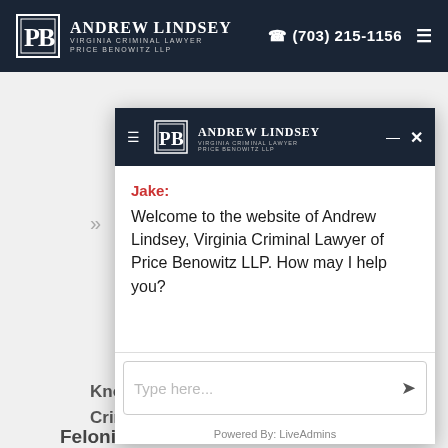[Figure (screenshot): Andrew Lindsey Virginia Criminal Lawyer Price Benowitz LLP website top navigation bar with logo and phone number (703) 215-1156]
Shoplifting
[Figure (screenshot): Chat widget overlay showing Andrew Lindsey law firm branding with a welcome message from Jake]
Jake:
Welcome to the website of Andrew Lindsey, Virginia Criminal Lawyer of Price Benowitz LLP. How may I help you?
Know
Crimin
What t
Crimin
Felonies and M
Powered By: LiveAdmins